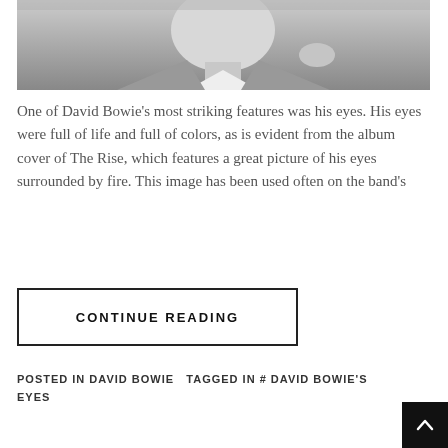[Figure (photo): Black and white portrait photograph of David Bowie, showing his face and upper body in a suit, cropped at the top of the page]
One of David Bowie’s most striking features was his eyes. His eyes were full of life and full of colors, as is evident from the album cover of The Rise, which features a great picture of his eyes surrounded by fire. This image has been used often on the band’s
CONTINUE READING
POSTED IN DAVID BOWIE   TAGGED IN # DAVID BOWIE’S EYES